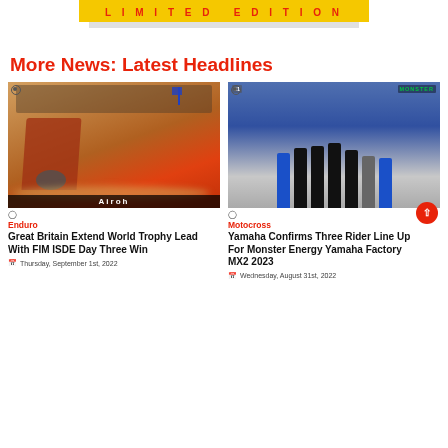[Figure (other): Limited Edition yellow banner with logo placeholder]
More News: Latest Headlines
[Figure (photo): Motocross/Enduro rider on dirt bike kicking up dust, Airoh banner in background]
Enduro
Great Britain Extend World Trophy Lead With FIM ISDE Day Three Win
Thursday, September 1st, 2022
[Figure (photo): Yamaha Monster Energy team group photo with six people in black and blue]
Motocross
Yamaha Confirms Three Rider Line Up For Monster Energy Yamaha Factory MX2 2023
Wednesday, August 31st, 2022